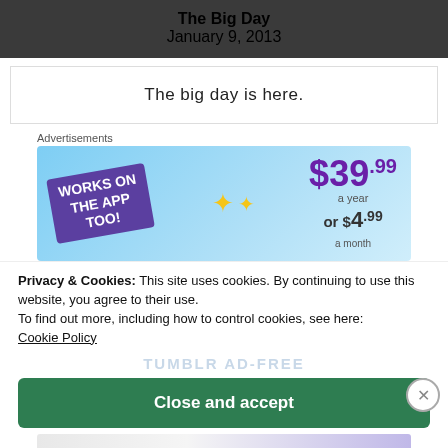The Big Day
January 9, 2013
The big day is here.
Advertisements
[Figure (screenshot): Advertisement banner: 'Works on the App Too!' with pricing $39.99 a year or $4.99 a month, blue sky background with star graphics]
Privacy & Cookies: This site uses cookies. By continuing to use this website, you agree to their use.
To find out more, including how to control cookies, see here:
Cookie Policy
TUMBLR AD-FREE
Close and accept
[Figure (screenshot): Bottom advertisement banner partially visible]